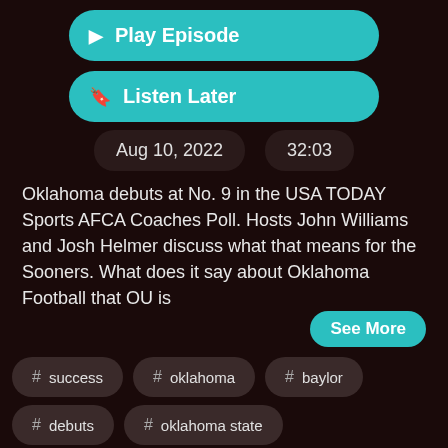▶ Play Episode
🔖 Listen Later
Aug 10, 2022    32:03
Oklahoma debuts at No. 9 in the USA TODAY Sports AFCA Coaches Poll. Hosts John Williams and Josh Helmer discuss what that means for the Sooners. What does it say about Oklahoma Football that OU is
See More
# success
# oklahoma
# baylor
# debuts
# oklahoma state
# year one
# sooners
# locked on